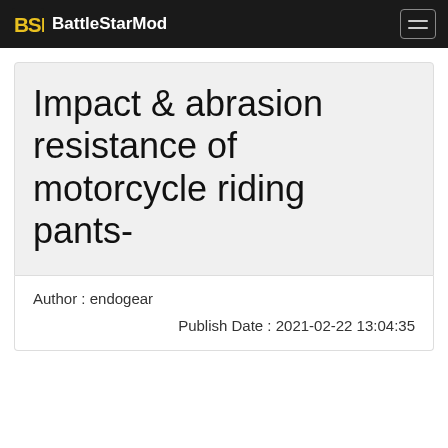BattleStarMod
Impact & abrasion resistance of motorcycle riding pants-
Author : endogear
Publish Date : 2021-02-22 13:04:35